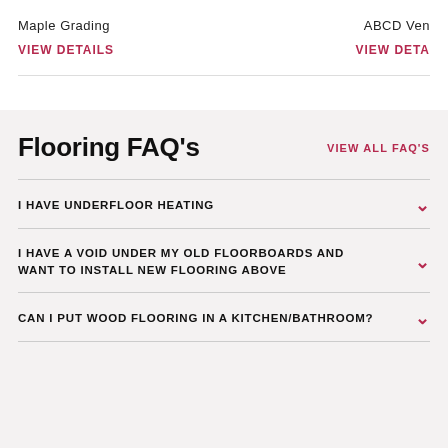Maple Grading
ABCD Ven
VIEW DETAILS
VIEW DETA
Flooring FAQ's
VIEW ALL FAQ'S
I HAVE UNDERFLOOR HEATING
I HAVE A VOID UNDER MY OLD FLOORBOARDS AND WANT TO INSTALL NEW FLOORING ABOVE
CAN I PUT WOOD FLOORING IN A KITCHEN/BATHROOM?